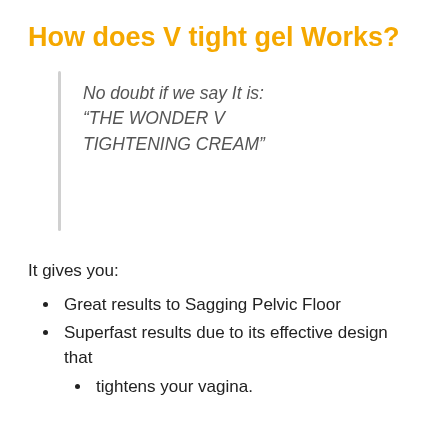How does V tight gel Works?
No doubt if we say It is: “THE WONDER V TIGHTENING CREAM”
It gives you:
Great results to Sagging Pelvic Floor
Superfast results due to its effective design that
tightens your vagina.